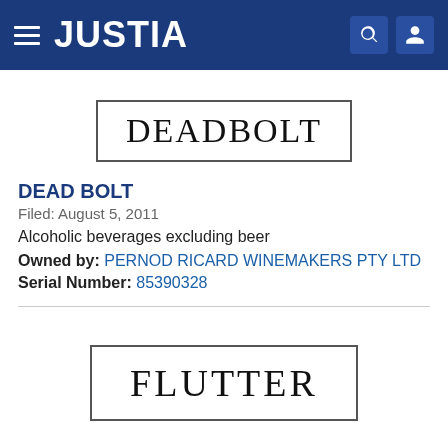JUSTIA
[Figure (logo): Trademark logo image showing the word DEADBOLT in serif font inside a rectangular border]
DEAD BOLT
Filed: August 5, 2011
Alcoholic beverages excluding beer
Owned by: PERNOD RICARD WINEMAKERS PTY LTD
Serial Number: 85390328
[Figure (logo): Trademark logo image showing the word FLUTTER in serif font inside a rectangular border]